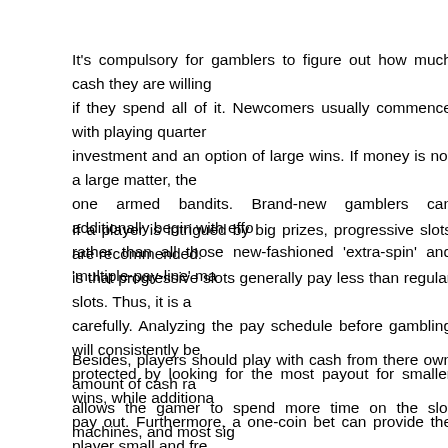It's compulsory for gamblers to figure out how much cash they are willing if they spend all of it. Newcomers usually commence with playing quarter investment and an option of large wins. If money is not a large matter, the one armed bandits. Brand-new gamblers can additionally begin with effo rather than all those new-fashioned 'extra-spin' and 'multiple-pay-line' ma
If a player is intrigued by big prizes, progressive slots are recommended. is that progressive slots generally pay less than regular slots. Thus, it is a carefully. Analyzing the pay schedule before gambling will consistently be protected by looking for the most payout for smaller wins, while additiona pay out. Furthermore, a one-coin bet can provide the player small and fre wagers. On the different hand, although maximum bets hit less frequently payouts of prizes.
Besides, players should play with cash from there own amount of cash ra allows the gamer to spend more time on the slot machines, and most sig moolah, they will still have the credits, which she can, redeem and not he are advised to move to a different slot machines if they are not benefiting hand, if he has doubled their cash, it is advisable to call it quits, as it's be Playing one armed bandits is mostly entertainment and usually will be m